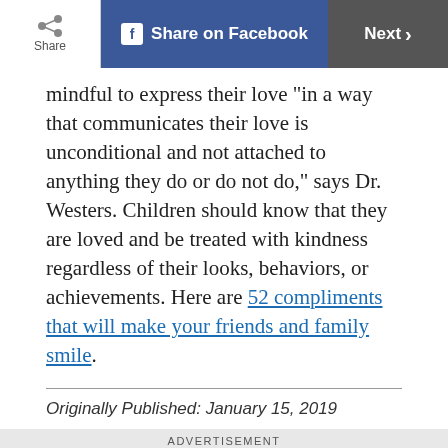Share | Share on Facebook | Next
mindful to express their love “in a way that communicates their love is unconditional and not attached to anything they do or do not do,” says Dr. Westers. Children should know that they are loved and be treated with kindness regardless of their looks, behaviors, or achievements. Here are 52 compliments that will make your friends and family smile.
Originally Published: January 15, 2019
[Figure (photo): Bertolli advertisement banner showing the Bertolli brand logo, a bottle of Bertolli sauce, fresh tomatoes, basil, and garlic on a dark background with a 'TRY IT TONIGHT' call-to-action button]